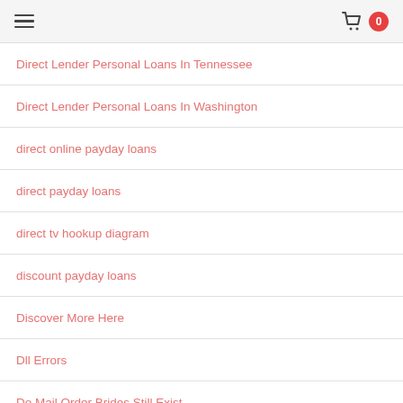Navigation header with hamburger menu and cart icon showing 0 items
Direct Lender Personal Loans In Tennessee
Direct Lender Personal Loans In Washington
direct online payday loans
direct payday loans
direct tv hookup diagram
discount payday loans
Discover More Here
Dll Errors
Do Mail Order Brides Still Exist
does meetmindful work